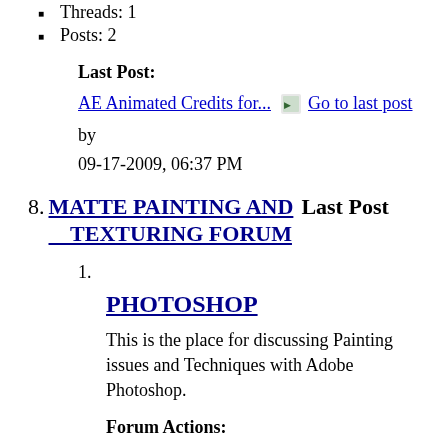Threads: 1
Posts: 2
Last Post:
AE Animated Credits for... Go to last post
by
09-17-2009, 06:37 PM
8. MATTE PAINTING AND TEXTURING FORUM Last Post
1.
PHOTOSHOP
This is the place for discussing Painting issues and Techniques with Adobe Photoshop.
Forum Actions: